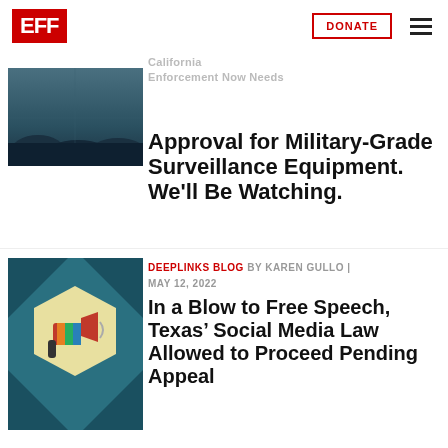[Figure (logo): EFF logo in red box with white text]
[Figure (other): DONATE button with red border]
[Figure (other): Hamburger menu icon]
California Law Enforcement Now Needs
[Figure (photo): Dark teal/grey surveillance image thumbnail]
Approval for Military-Grade Surveillance Equipment. We'll Be Watching.
[Figure (illustration): Illustrated megaphone icon on teal hexagon background]
DEEPLINKS BLOG BY KAREN GULLO | MAY 12, 2022
In a Blow to Free Speech, Texas’ Social Media Law Allowed to Proceed Pending Appeal